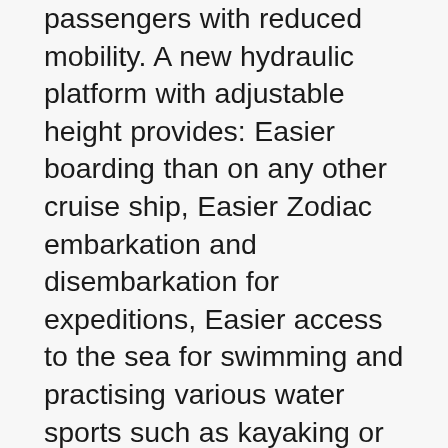passengers with reduced mobility. A new hydraulic platform with adjustable height provides: Easier boarding than on any other cruise ship, Easier Zodiac embarkation and disembarkation for expeditions, Easier access to the sea for swimming and practising various water sports such as kayaking or paddle-boarding. A pool deck offering: A pool with a panoramic view, equipped with a counter-current swimming system, A pleasant solarium, An outdoor bar and lounge with armchairs and sofas. A 200 m² main lounge which can accommodate all of our passengers to share convivial moments and to host activities organised during the day or evening. Lastly, a theatre that seats 188, equipped with: The latest sound and lighting technology, A LED wall as the stage backdrop, for the projection of high-resolution images and videos.